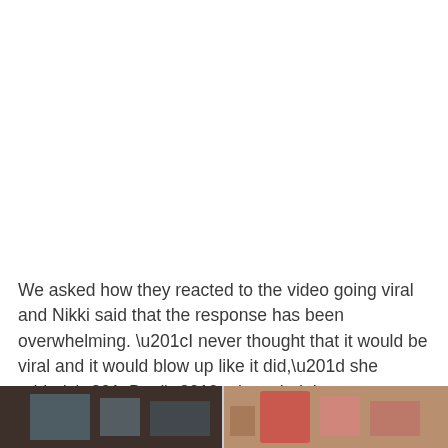We asked how they reacted to the video going viral and Nikki said that the response has been overwhelming. “I never thought that it would be viral and it would blow up like it did,” she added. “But I’m just glad that we were able to share happiness, love, and positivity to all, especially at this very uncertain and challenging time,” the woman concluded.
[Figure (photo): Bottom strip showing two photos side by side: left photo is dark/indoor scene, right photo shows colorful items.]